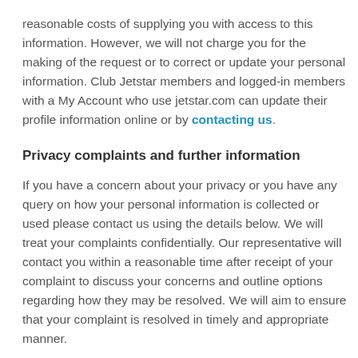reasonable costs of supplying you with access to this information. However, we will not charge you for the making of the request or to correct or update your personal information. Club Jetstar members and logged-in members with a My Account who use jetstar.com can update their profile information online or by contacting us.
Privacy complaints and further information
If you have a concern about your privacy or you have any query on how your personal information is collected or used please contact us using the details below. We will treat your complaints confidentially. Our representative will contact you within a reasonable time after receipt of your complaint to discuss your concerns and outline options regarding how they may be resolved. We will aim to ensure that your complaint is resolved in timely and appropriate manner.